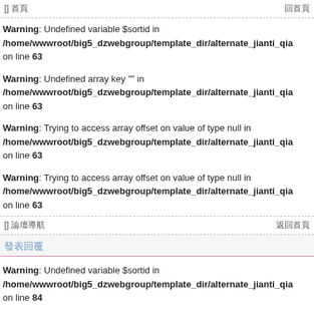[] 首頁  回首頁
Warning: Undefined variable $sortid in /home/wwwroot/big5_dzwebgroup/template_dir/alternate_jianti_qia on line 63
Warning: Undefined array key "" in /home/wwwroot/big5_dzwebgroup/template_dir/alternate_jianti_qia on line 63
Warning: Trying to access array offset on value of type null in /home/wwwroot/big5_dzwebgroup/template_dir/alternate_jianti_qia on line 63
Warning: Trying to access array offset on value of type null in /home/wwwroot/big5_dzwebgroup/template_dir/alternate_jianti_qia on line 63
[] 論壇導航  返回首頁
發表回覆
Warning: Undefined variable $sortid in /home/wwwroot/big5_dzwebgroup/template_dir/alternate_jianti_qia on line 84
Warning: Undefined array key "" in